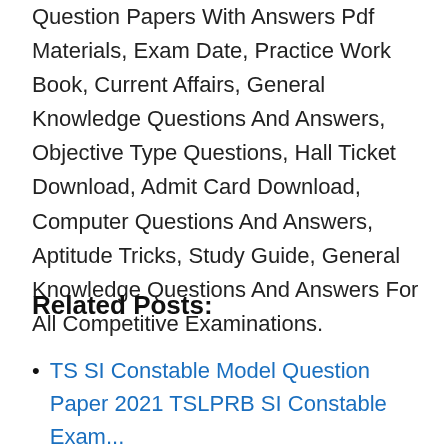Question Papers With Answers Pdf Materials, Exam Date, Practice Work Book, Current Affairs, General Knowledge Questions And Answers, Objective Type Questions, Hall Ticket Download, Admit Card Download, Computer Questions And Answers, Aptitude Tricks, Study Guide, General Knowledge Questions And Answers For All Competitive Examinations.
Related Posts:
TS SI Constable Model Question Paper 2021 TSLPRB SI Constable Exam...